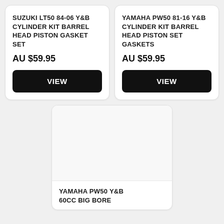SUZUKI LT50 84-06 Y&B CYLINDER KIT BARREL HEAD PISTON GASKET SET
AU $59.95
VIEW
YAMAHA PW50 81-16 Y&B CYLINDER KIT BARREL HEAD PISTON SET GASKETS
AU $59.95
VIEW
[Figure (photo): Product image placeholder area (blank/white)]
YAMAHA PW50 Y&B 60cc BIG BORE